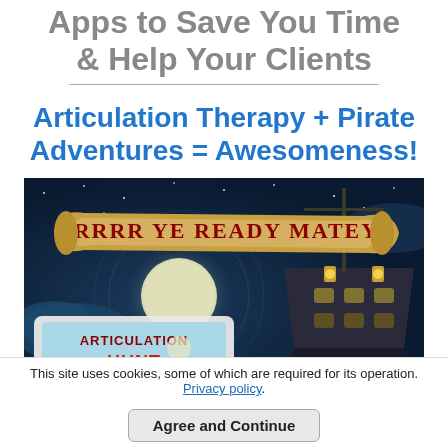Apps to Save You Time & Help Your Clients
Articulation Therapy + Pirate Adventures = Awesomeness!
[Figure (illustration): Pirate-themed app screenshot showing a scroll banner reading 'Arrrr Ye Ready Matey?' with a haunted ship at night and an iPad showing 'Articulation Hunt' app below]
This site uses cookies, some of which are required for its operation. Privacy policy.
Agree and Continue